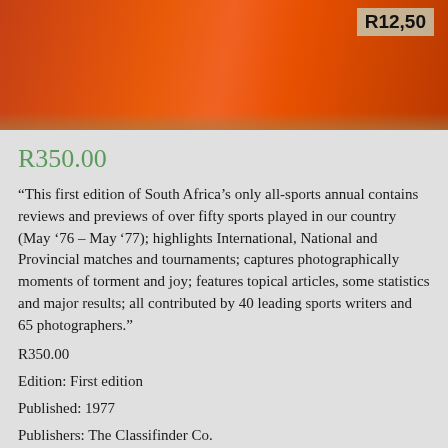[Figure (photo): Book cover photo showing an orange/red illustrated sports annual cover with price tag R12,50 visible in upper right area]
R350.00
“This first edition of South Africa’s only all-sports annual contains reviews and previews of over fifty sports played in our country (May ’76 – May ’77); highlights International, National and Provincial matches and tournaments; captures photographically moments of torment and joy; features topical articles, some statistics and major results; all contributed by 40 leading sports writers and 65 photographers.”
R350.00
Edition: First edition
Published: 1977
Publishers: The Classifinder Co.
Condition: Hardcover in good condition, with very minor shelf wear around the edges of the cover, and top and bottom of the spine. Dust